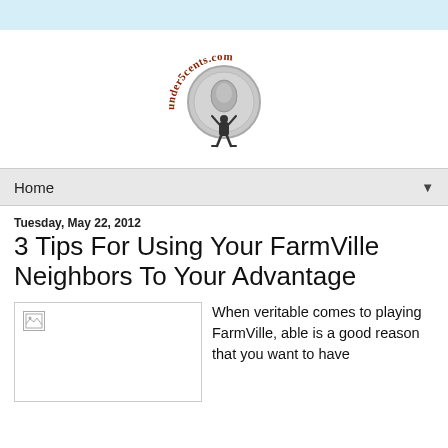[Figure (logo): under5cents.com logo: arched text reading 'under5cents.com' over a large coin (nickel) balanced on a kneeling figure (Atlas)]
Home ▼
Tuesday, May 22, 2012
3 Tips For Using Your FarmVille Neighbors To Your Advantage
[Figure (photo): Broken/missing image placeholder]
When veritable comes to playing FarmVille, able is a good reason that you want to have